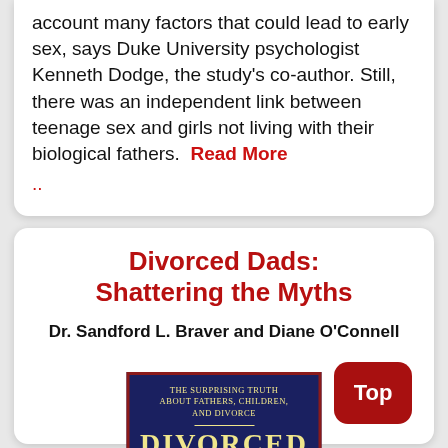account many factors that could lead to early sex, says Duke University psychologist Kenneth Dodge, the study's co-author. Still, there was an independent link between teenage sex and girls not living with their biological fathers.  Read More ..
Divorced Dads: Shattering the Myths
Dr. Sandford L. Braver and Diane O'Connell
[Figure (photo): Book cover of 'Divorced Dads: Shattering the Myths' with subtitle 'The Surprising Truth about Fathers, Children, and Divorce' on a dark blue background with gold/yellow text and a red border]
Top